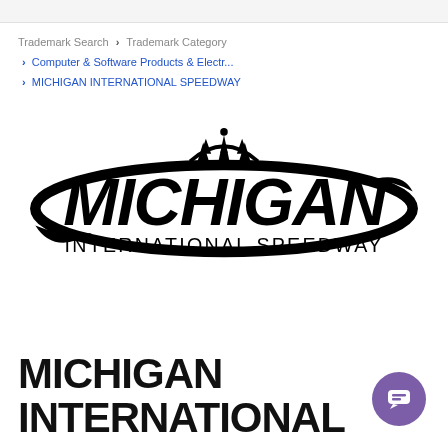Trademark Search > Trademark Category > Computer & Software Products & Electr... > MICHIGAN INTERNATIONAL SPEEDWAY
[Figure (logo): Michigan International Speedway logo — bold italic 'MICHIGAN' text with oval speed swoosh graphic and trees/crown emblem above, 'INTERNATIONAL SPEEDWAY' in spaced capitals below]
MICHIGAN INTERNATIONAL